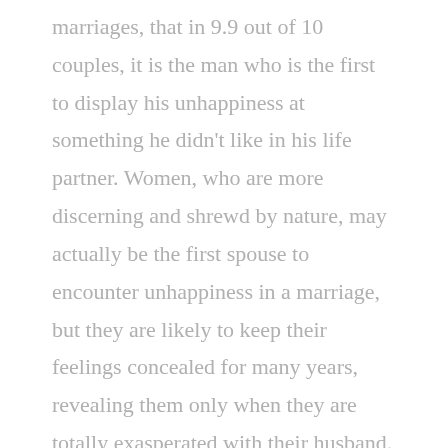marriages, that in 9.9 out of 10 couples, it is the man who is the first to display his unhappiness at something he didn't like in his life partner. Women, who are more discerning and shrewd by nature, may actually be the first spouse to encounter unhappiness in a marriage, but they are likely to keep their feelings concealed for many years, revealing them only when they are totally exasperated with their husband.
Remember that it is normal for a couple to encounter their first unhappy moment with each other a few weeks, or surely a few months, after their wedding day bliss. If a couple had a